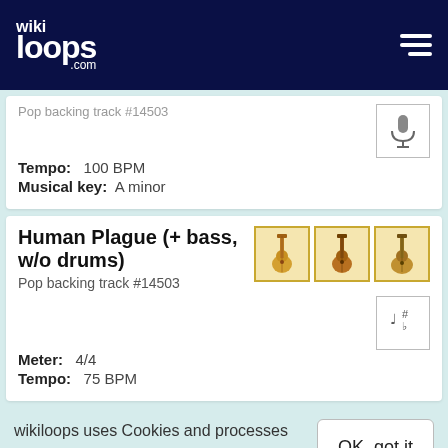wikiloops.com
Pop backing track #14503 (partial, top of card)
Tempo: 100 BPM
Musical key: A minor
Human Plague (+ bass, w/o drums)
Pop backing track #14503
Meter: 4/4
Tempo: 75 BPM
wikiloops uses Cookies and processes data in compliance with the GDPR, as stated in our data privacy policy ..